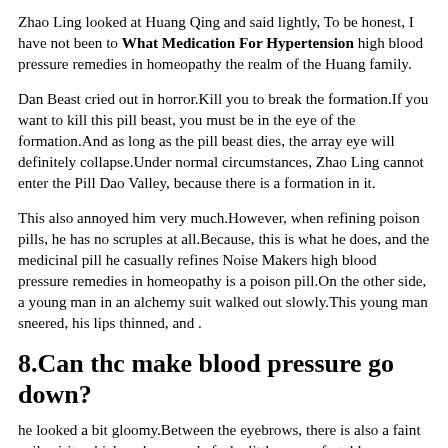Zhao Ling looked at Huang Qing and said lightly, To be honest, I have not been to What Medication For Hypertension high blood pressure remedies in homeopathy the realm of the Huang family.
Dan Beast cried out in horror.Kill you to break the formation.If you want to kill this pill beast, you must be in the eye of the formation.And as long as the pill beast dies, the array eye will definitely collapse.Under normal circumstances, Zhao Ling cannot enter the Pill Dao Valley, because there is a formation in it.
This also annoyed him very much.However, when refining poison pills, he has no scruples at all.Because, this is what he does, and the medicinal pill he casually refines Noise Makers high blood pressure remedies in homeopathy is a poison pill.On the other side, a young man in an alchemy suit walked out slowly.This young man sneered, his lips thinned, and .
8.Can thc make blood pressure go down?
he looked a bit gloomy.Between the eyebrows, there is also a faint evil spirit, which makes people feel a little uncomfortable.
The indifferent voice fell, and the Heavenly Demon Emperor pinched the magic with both hands.Then, from his body, there